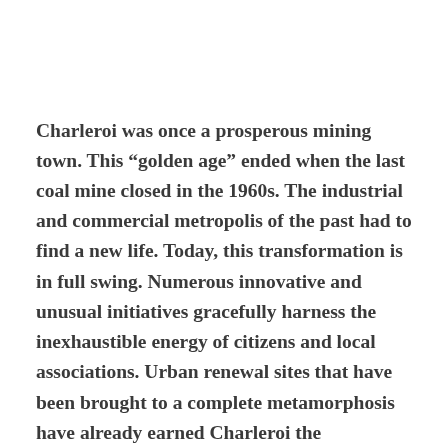Charleroi was once a prosperous mining town. This “golden age” ended when the last coal mine closed in the 1960s. The industrial and commercial metropolis of the past had to find a new life. Today, this transformation is in full swing. Numerous innovative and unusual initiatives gracefully harness the inexhaustible energy of citizens and local associations. Urban renewal sites that have been brought to a complete metamorphosis have already earned Charleroi the